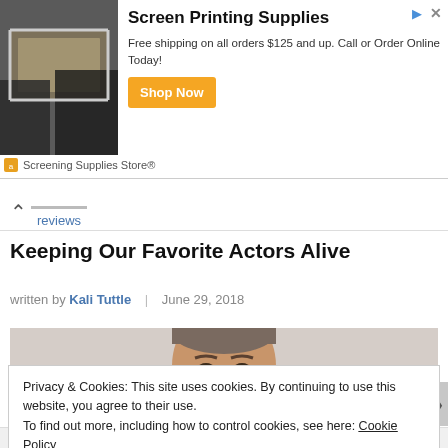[Figure (screenshot): Advertisement banner for Screen Printing Supplies showing a person using a screen printing frame, with text 'Screen Printing Supplies', 'Free shipping on all orders $125 and up. Call or Order Online Today!', and a 'Shop Now' button. Advertiser: Screening Supplies Store®]
reviews
Keeping Our Favorite Actors Alive
written by Kali Tuttle  |  June 29, 2018
[Figure (photo): Photo of an actor (Tom Hanks) looking directly at the camera with a serious expression, light background]
Privacy & Cookies: This site uses cookies. By continuing to use this website, you agree to their use.
To find out more, including how to control cookies, see here: Cookie Policy
Close and accept
Advertisements